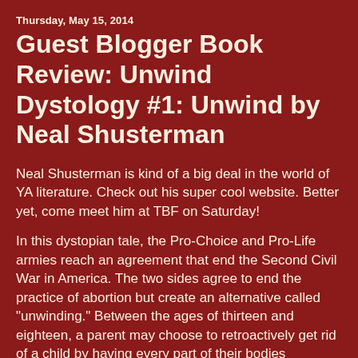Thursday, May 15, 2014
Guest Blogger Book Review: Unwind Dystology #1: Unwind by Neal Shusterman
Neal Shusterman is kind of a big deal in the world of YA literature. Check out his super cool website. Better yet, come meet him at TBF on Saturday!
In this dystopian tale, the Pro-Choice and Pro-Life armies reach an agreement that end the Second Civil War in America. The two sides agree to end the practice of abortion but create an alternative called "unwinding." Between the ages of thirteen and eighteen, a parent may choose to retroactively get rid of a child by having every part of their bodies harvested to be "donated" to another person. Unwinding ensures that the child's life doesn't “technically” end by transplanting all the organs in the child's body to various recipients. This becomes an accepted practice in society. It also allows for troublesome or unwanted teens to